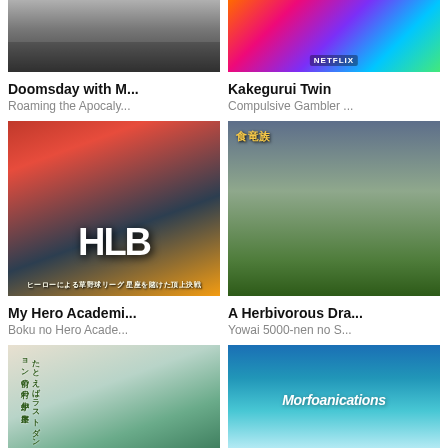[Figure (photo): Partial top of Doomsday with M... anime poster, cropped at top]
[Figure (photo): Partial top of Kakegurui Twin Netflix anime poster, cropped at top with colorful design]
Doomsday with M...
Roaming the Apocaly...
Kakegurui Twin
Compulsive Gambler ...
[Figure (photo): My Hero Academia HLB baseball anime poster with colorful character art and HLB logo]
[Figure (photo): A Herbivorous Dragon anime poster showing a girl sitting on grass with dark moody background]
My Hero Academi...
Boku no Hero Acade...
A Herbivorous Dra...
Yowai 5000-nen no S...
[Figure (photo): Bottom partial manga/anime poster with characters in colorful attire]
[Figure (photo): Bottom partial Morfoanicatons anime poster with blue butterfly theme]